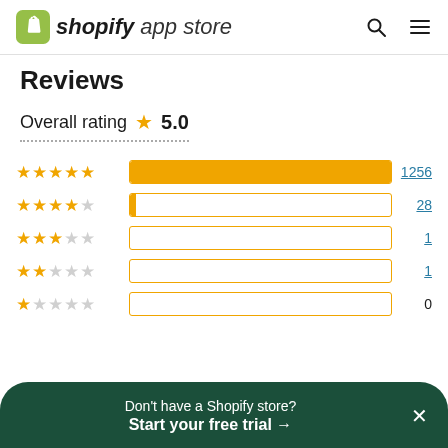shopify app store
Reviews
Overall rating ★ 5.0
[Figure (bar-chart): Rating distribution]
Don't have a Shopify store? Start your free trial →